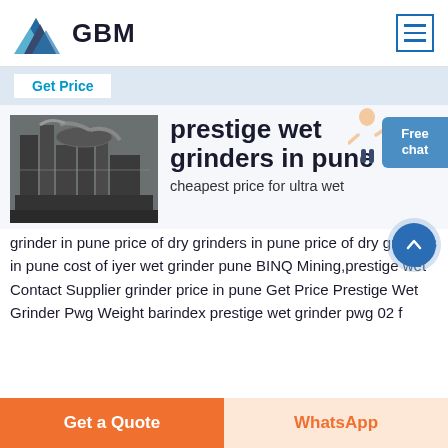GBM
Get Price
prestige wet grinders in pune
cheapest price for ultra wet grinder in pune price of dry grinders in pune price of dry grinders in pune cost of iyer wet grinder pune BINQ Mining,prestige wet Contact Supplier grinder price in pune Get Price Prestige Wet Grinder Pwg Weight barindex prestige wet grinder pwg 02 f
Get a Quote
WhatsApp